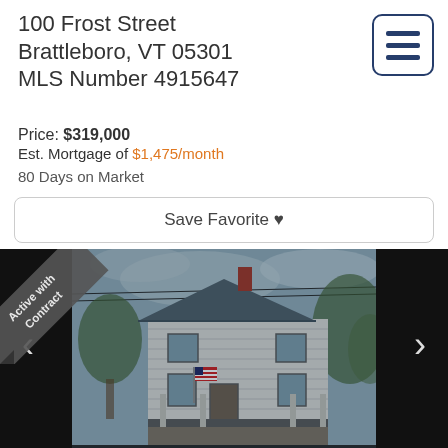100 Frost Street
Brattleboro, VT 05301
MLS Number 4915647
Price: $319,000
Est. Mortgage of $1,475/month
80 Days on Market
Save Favorite ♥
[Figure (photo): Exterior photo of a two-story white Victorian house at 100 Frost Street, Brattleboro VT, with an American flag on the porch, trees in background, dark side panels and navigation arrows, with an 'Active with Contract' diagonal ribbon banner in upper left corner.]